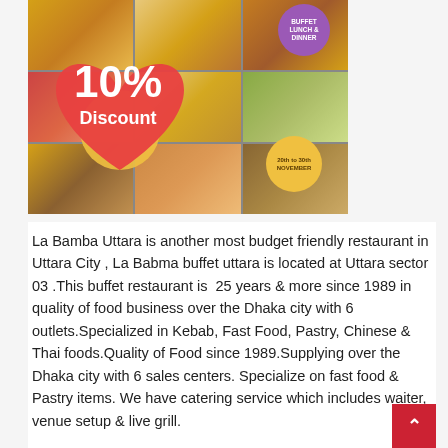[Figure (photo): A collage of buffet food dishes with overlaid promotional graphics showing '10% Discount' on a heart-shaped red background, a purple circular badge reading 'BUFFET LUNCH & DINNER', and a yellow circular badge reading '20th to 30th NOVEMBER'.]
La Bamba Uttara is another most budget friendly restaurant in Uttara City , La Babma buffet uttara is located at Uttara sector 03 .This buffet restaurant is  25 years & more since 1989 in quality of food business over the Dhaka city with 6 outlets.Specialized in Kebab, Fast Food, Pastry, Chinese & Thai foods.Quality of Food since 1989.Supplying over the Dhaka city with 6 sales centers. Specialize on fast food & Pastry items. We have catering service which includes waiter, venue setup & live grill.